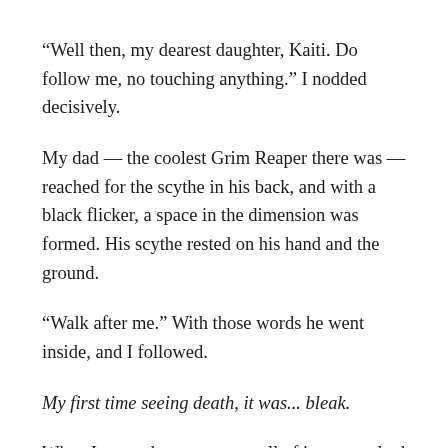“Well then, my dearest daughter, Kaiti. Do follow me, no touching anything.” I nodded decisively.
My dad — the coolest Grim Reaper there was — reached for the scythe in his back, and with a black flicker, a space in the dimension was formed. His scythe rested on his hand and the ground.
“Walk after me.” With those words he went inside, and I followed.
My first time seeing death, it was... bleak.
When I opened my eyes a smell of iron assaulted me, ashes permeated the air, the heat from flames invaded my skin. I had thought we were in the Underworld, but the sky was blue, different from the red hue I was used to. And then I saw him. Dad...